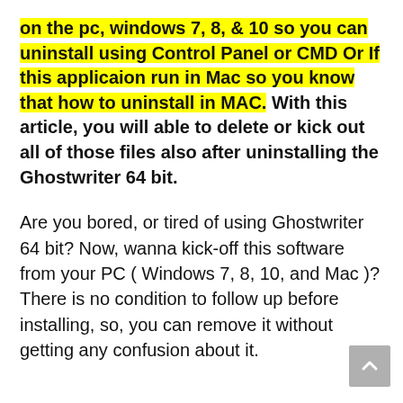on the pc, windows 7, 8, & 10 so you can uninstall using Control Panel or CMD Or If this applicaion run in Mac so you know that how to uninstall in MAC. With this article, you will able to delete or kick out all of those files also after uninstalling the Ghostwriter 64 bit.
Are you bored, or tired of using Ghostwriter 64 bit? Now, wanna kick-off this software from your PC ( Windows 7, 8, 10, and Mac )? There is no condition to follow up before installing, so, you can remove it without getting any confusion about it.